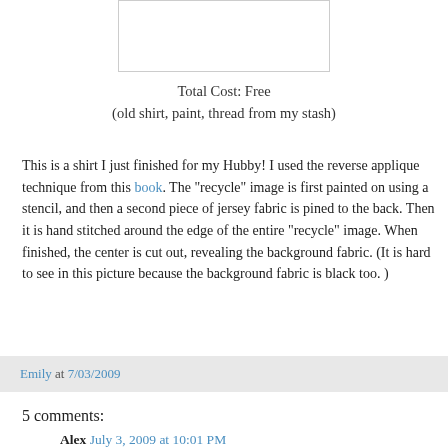[Figure (photo): Image of a shirt with recycle design (partially visible, white rectangle placeholder at top)]
Total Cost: Free
(old shirt, paint, thread from my stash)
This is a shirt I just finished for my Hubby! I used the reverse applique technique from this book. The "recycle" image is first painted on using a stencil, and then a second piece of jersey fabric is pined to the back. Then it is hand stitched around the edge of the entire "recycle" image. When finished, the center is cut out, revealing the background fabric. (It is hard to see in this picture because the background fabric is black too. )
Emily at 7/03/2009
5 comments:
Alex July 3, 2009 at 10:01 PM